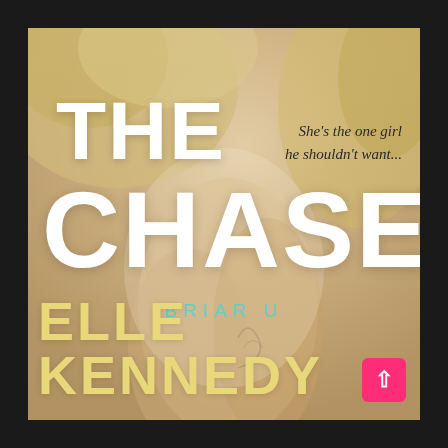[Figure (illustration): Book cover for 'The Chase' by Elle Kennedy (Briar U series). Background shows a close-up photo of a blonde woman's torso and hands. Large white bold text reads 'THE' and 'CHASE'. Italic tagline reads 'She's the one girl he shouldn't want...'. Series name 'BRIAR U' in teal. Author name 'ELLE KENNEDY' in gold/yellow at bottom. A pink scroll-up button in the bottom right corner.]